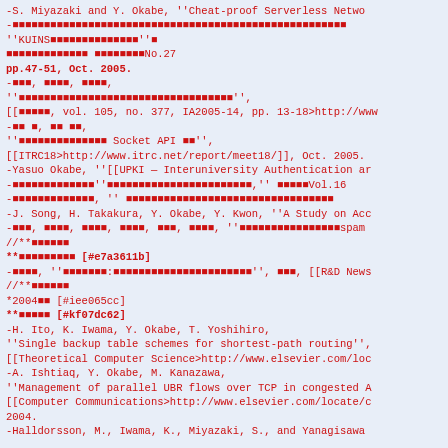-S. Miyazaki and Y. Okabe, ''Cheat-proof Serverless Netwo
-■■■■■■■■■■■■■■■■■■■■■■■■■■■■■■■■■■■■■■■■■■■■■■■■■■■■■
''KUINS■■■■■■■■■■■■■■''
■■■■■■■■■■■■■ ■■■■■■■■No.27
pp.47-51, Oct. 2005.
-■■■, ■■■■, ■■■■,
''■■■■■■■■■■■■■■■■■■■■■■■■■■■■■■■■■■'',
[[■■■■■, vol. 105, no. 377, IA2005-14, pp. 13-18>http://www
-■■ ■, ■■ ■■,
''■■■■■■■■■■■■■■ Socket API ■■'',
[[ITRC18>http://www.itrc.net/report/meet18/]], Oct. 2005.
-Yasuo Okabe, ''[[UPKI — Interuniversity Authentication ar
-■■■■■■■■■■■■■''■■■■■■■■■■■■■■■■■■■■■,'' ■■■■■Vol.16
-■■■■■■■■■■■■■, '' ■■■■■■■■■■■■■■■■■■■■■■■■■■■■■■■■■
-J. Song, H. Takakura, Y. Okabe, Y. Kwon, ''A Study on Acc
-■■■, ■■■■, ■■■■, ■■■■, ■■■, ■■■■, ''■■■■■■■■■■■■■■■■spam
//**■■■■■■
**■■■■■■■■■ [#e7a3611b]
-■■■■, ''■■■■■■■:■■■■■■■■■■■■■■■■■■■■■■'', ■■■, [[R&D News
//**■■■■■■
*2004■■ [#iee065cc]
**■■■■■ [#kf07dc62]
-H. Ito, K. Iwama, Y. Okabe, T. Yoshihiro,
''Single backup table schemes for shortest-path routing'',
[[Theoretical Computer Science>http://www.elsevier.com/loc
-A. Ishtiaq, Y. Okabe, M. Kanazawa,
''Management of parallel UBR flows over TCP in congested A
[[Computer Communications>http://www.elsevier.com/locate/c
2004.
-Halldorsson, M., Iwama, K., Miyazaki, S., and Yanagisawa